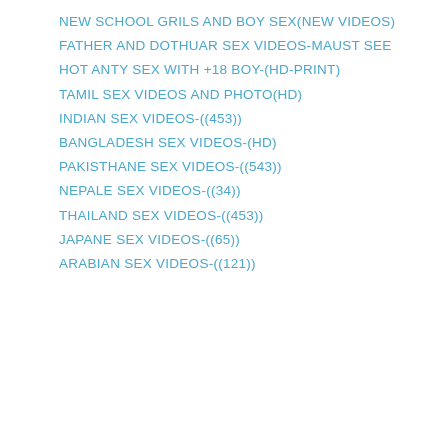NEW SCHOOL GRILS AND BOY SEX(NEW VIDEOS)
FATHER AND DOTHUAR SEX VIDEOS-MAUST SEE
HOT ANTY SEX WITH +18 BOY-(HD-PRINT)
TAMIL SEX VIDEOS AND PHOTO(HD)
INDIAN SEX VIDEOS-((453))
BANGLADESH SEX VIDEOS-(HD)
PAKISTHANE SEX VIDEOS-((543))
NEPALE SEX VIDEOS-((34))
THAILAND SEX VIDEOS-((453))
JAPANE SEX VIDEOS-((65))
ARABIAN SEX VIDEOS-((121))